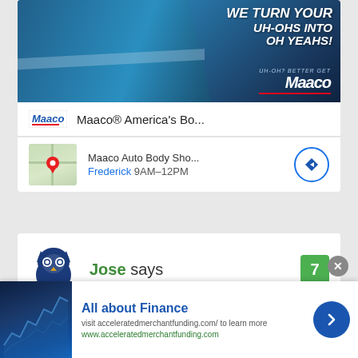[Figure (screenshot): Maaco auto body shop advertisement showing a blue car with text 'WE TURN YOUR UH-OHS INTO OH YEAHS!' and Maaco logo]
Maaco® America's Bo...
Maaco Auto Body Sho... Frederick 9AM–12PM
[Figure (screenshot): Hootsuite owl mascot icon with Jose says label and badge number 7]
Jose says
[Figure (screenshot): All about Finance banner ad with financial chart image. visit acceleratedmerchantfunding.com/ to learn more. www.acceleratedmerchantfunding.com]